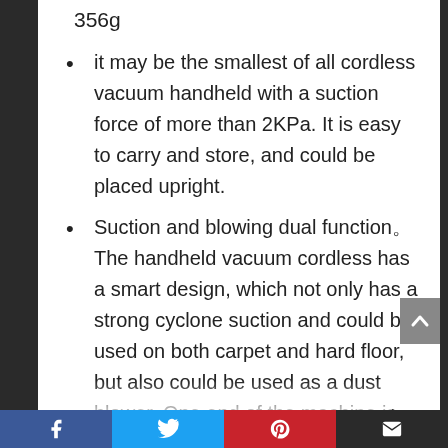356g
it may be the smallest of all cordless vacuum handheld with a suction force of more than 2KPa. It is easy to carry and store, and could be placed upright.
Suction and blowing dual function。The handheld vacuum cordless has a smart design, which not only has a strong cyclone suction and could be used on both carpet and hard floor, but also could be used as a dust blower. One end of the machine is connected to the suction nozzle for vacuuming, while the
Facebook Twitter Pinterest Email